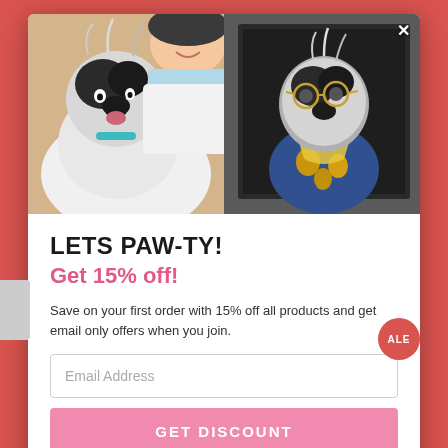[Figure (photo): A smiling woman holding a scruffy black and white dog, next to a canvas portrait of the same dog dressed in glasses and a fancy outfit on a dark background. This is a popup modal image.]
LETS PAW-TY!
Get 15% off!
Save on your first order with 15% off all products and get email only offers when you join.
Email Address
GET DISCOUNT
You are subscribing to receive exclusive offers.